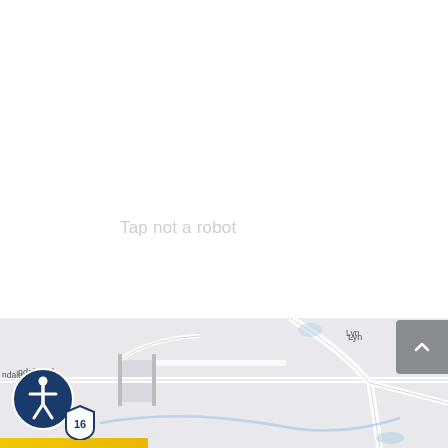[Figure (screenshot): Website UI overlay on top of a map screenshot. Upper portion shows a white/near-white background with faint ghost UI text reading 'Tap not a robot' and a 'Submit' button label. Lower portion shows a Google Maps-style map fragment displaying 'Lynndale Rd' road labels, local roads, and a river/creek. A gray scroll-up button appears top-right of the map area. An accessibility icon (person in circle) appears bottom-left. A Route 16 highway shield badge appears bottom-left near the road.]